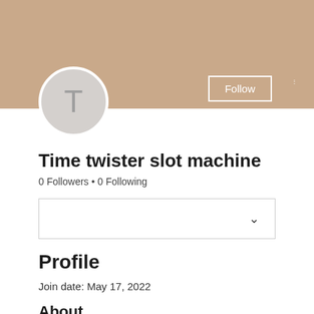[Figure (screenshot): Social media profile page banner with tan/beige background color]
[Figure (illustration): Circular avatar with letter T on light gray background]
Time twister slot machine
0 Followers • 0 Following
[Figure (other): Dropdown selector box with chevron arrow]
Profile
Join date: May 17, 2022
About